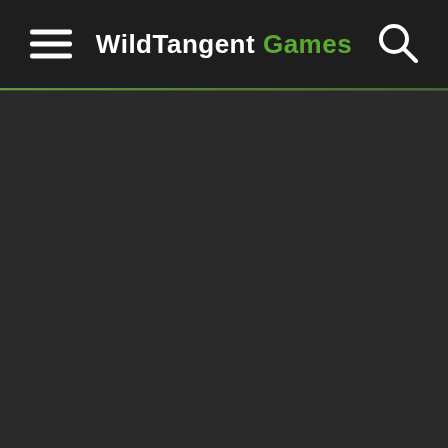WildTangent Games
[Figure (screenshot): Dark background main content area below the navigation header, no visible content]